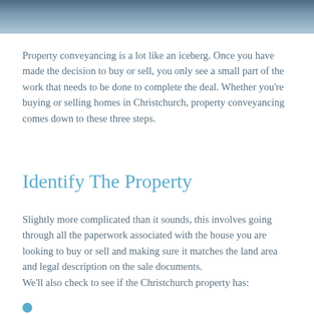[Figure (photo): Dark blue/teal header photo banner at top of page]
Property conveyancing is a lot like an iceberg. Once you have made the decision to buy or sell, you only see a small part of the work that needs to be done to complete the deal. Whether you're buying or selling homes in Christchurch, property conveyancing comes down to these three steps.
Identify The Property
Slightly more complicated than it sounds, this involves going through all the paperwork associated with the house you are looking to buy or sell and making sure it matches the land area and legal description on the sale documents. We'll also check to see if the Christchurch property has:
...